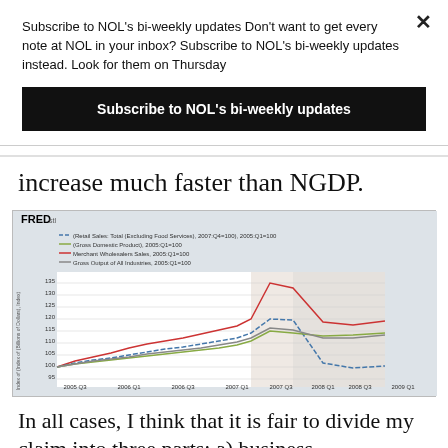Subscribe to NOL's bi-weekly updates Don't want to get every note at NOL in your inbox? Subscribe to NOL's bi-weekly updates instead. Look for them on Thursday
Subscribe to NOL's bi-weekly updates
increase much faster than NGDP.
[Figure (line-chart): FRED line chart showing Retail Sales Total (Excluding Food Services) 2007:Q4=100 2005:Q1=100, Gross Domestic Product 2005:Q1=100, Merchant Wholesalers Sales 2005:Q1=100, Gross Output of All Industries 2005:Q1=100. X-axis: 2005 Q3 through 2009 Q1. Y-axis: 95 to 135. Lines show growth from 100 in 2005 to various peaks around 2008 Q1 before declining.]
In all cases, I think that it is fair to divide my claim into three parts: a) business